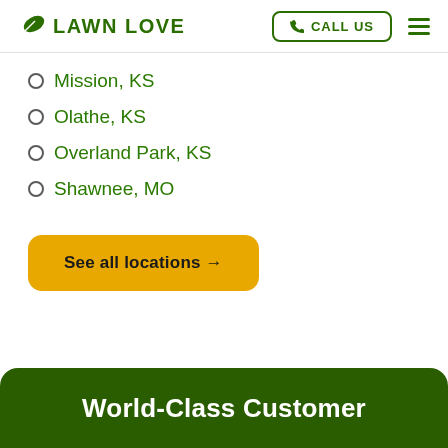LAWN LOVE | CALL US
Mission, KS
Olathe, KS
Overland Park, KS
Shawnee, MO
See all locations →
World-Class Customer